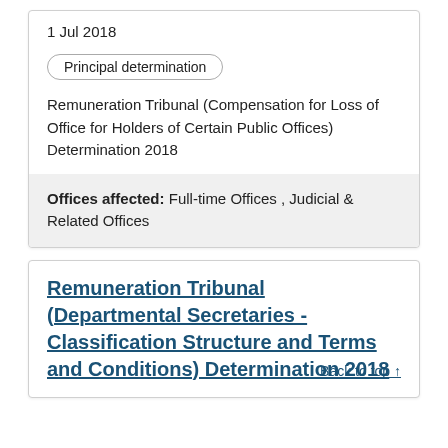1 Jul 2018
Principal determination
Remuneration Tribunal (Compensation for Loss of Office for Holders of Certain Public Offices) Determination 2018
Offices affected: Full-time Offices , Judicial & Related Offices
Remuneration Tribunal (Departmental Secretaries - Classification Structure and Terms and Conditions) Determination 2018
Back to top ↑